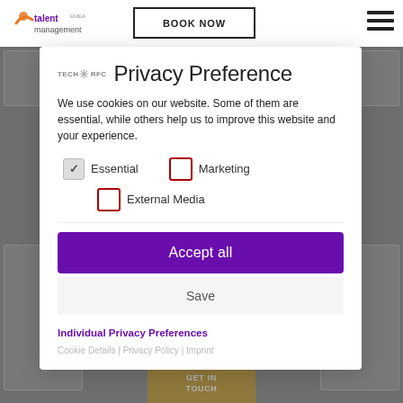[Figure (screenshot): Website navigation bar with Talent Management logo, BOOK NOW button, and hamburger menu icon]
Privacy Preference
We use cookies on our website. Some of them are essential, while others help us to improve this website and your experience.
Essential (checked)
Marketing (unchecked)
External Media (unchecked)
Accept all
Save
Individual Privacy Preferences
Cookie Details | Privacy Policy | Imprint